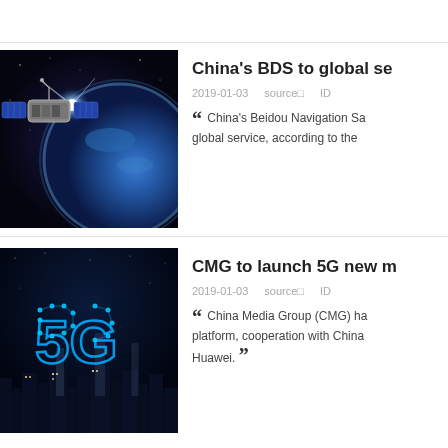[Figure (photo): Satellite orbiting Earth in space with bright light]
China's BDS to global se...
2019-01-03   source□   ID...
“ China's Beidou Navigation Sa... global service, according to the...
[Figure (photo): 5G glowing text over city skyline at night]
CMG to launch 5G new m...
2019-01-03   source□   ID...
“ China Media Group (CMG) ha... platform, cooperation with China... Huawei. ”